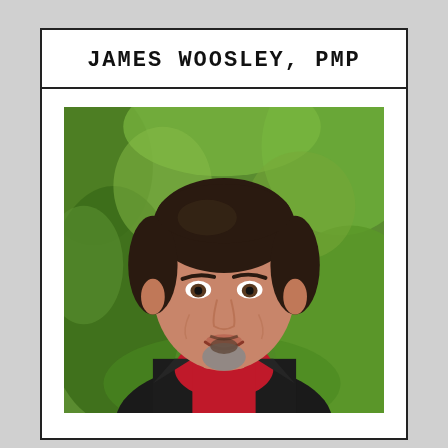JAMES WOOSLEY, PMP
[Figure (photo): Professional headshot of James Woosley, PMP. A middle-aged man with dark hair, goatee with gray, wearing a red shirt and dark suit jacket, smiling, photographed outdoors with green foliage background.]